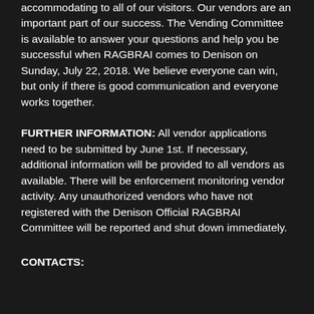accommodating to all of our visitors. Our vendors are an important part of our success. The Vending Committee is available to answer your questions and help you be successful when RAGBRAI comes to Denison on Sunday, July 22, 2018. We believe everyone can win, but only if there is good communication and everyone works together.
FURTHER INFORMATION: All vendor applications need to be submitted by June 1st. If necessary, additional information will be provided to all vendors as available. There will be enforcement monitoring vendor activity. Any unauthorized vendors who have not registered with the Denison Official RAGBRAI Committee will be reported and shut down immediately.
CONTACTS: